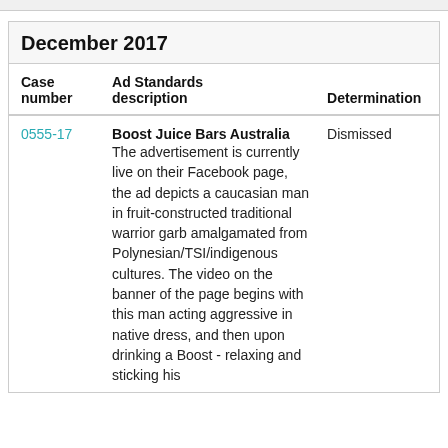December 2017
| Case number | Ad Standards description | Determination |
| --- | --- | --- |
| 0555-17 | Boost Juice Bars Australia The advertisement is currently live on their Facebook page, the ad depicts a caucasian man in fruit-constructed traditional warrior garb amalgamated from Polynesian/TSI/indigenous cultures. The video on the banner of the page begins with this man acting aggressive in native dress, and then upon drinking a Boost - relaxing and sticking his | Dismissed |